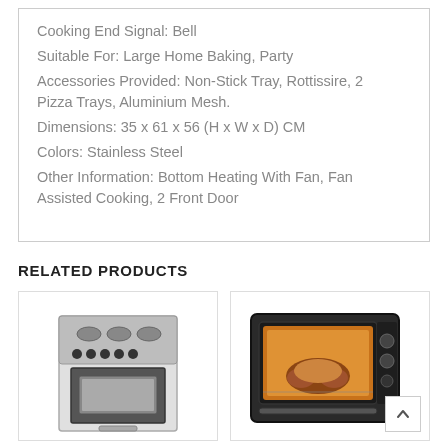Cooking End Signal: Bell
Suitable For: Large Home Baking, Party
Accessories Provided: Non-Stick Tray, Rottissire, 2 Pizza Trays, Aluminium Mesh.
Dimensions: 35 x 61 x 56 (H x W x D) CM
Colors: Stainless Steel
Other Information: Bottom Heating With Fan, Fan Assisted Cooking, 2 Front Door
RELATED PRODUCTS
[Figure (photo): Gas stove/range appliance with four burners and oven]
[Figure (photo): Countertop oven with food inside, illuminated interior]